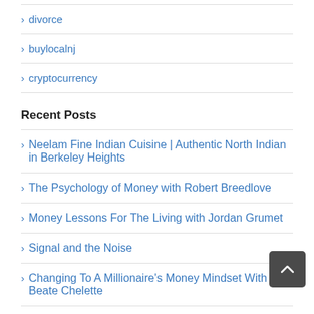> divorce
> buylocalnj
> cryptocurrency
Recent Posts
> Neelam Fine Indian Cuisine | Authentic North Indian in Berkeley Heights
> The Psychology of Money with Robert Breedlove
> Money Lessons For The Living with Jordan Grumet
> Signal and the Noise
> Changing To A Millionaire's Money Mindset With Beate Chelette